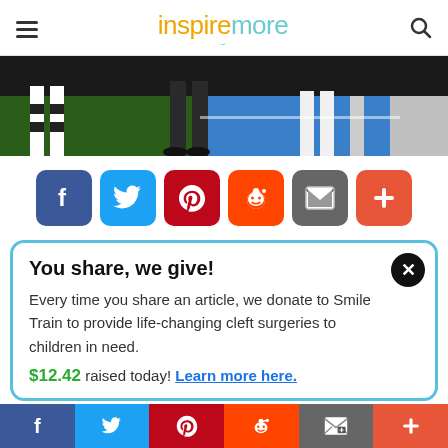inspiremore
[Figure (photo): Bottom portion of people standing on a football field, showing legs and feet on blue artificial turf and green grass]
[Figure (infographic): Social sharing buttons row: Facebook, Twitter, Pinterest, Reddit, Email, More (+)]
You share, we give!
Every time you share an article, we donate to Smile Train to provide life-changing cleft surgeries to children in need.
$12.42 raised today! Learn more here.
[Figure (infographic): Bottom navigation bar with social sharing buttons: Facebook, Twitter, Pinterest, Reddit, Email, More (+)]